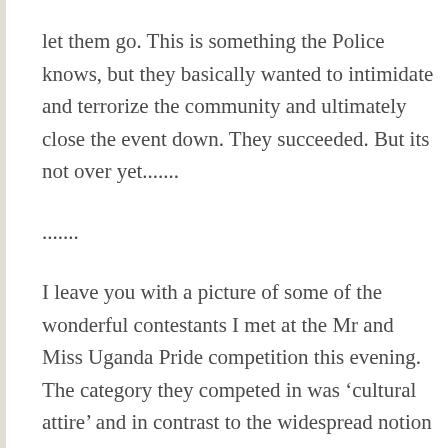let them go. This is something the Police knows, but they basically wanted to intimidate and terrorize the community and ultimately close the event down. They succeeded. But its not over yet.......
.......
I leave you with a picture of some of the wonderful contestants I met at the Mr and Miss Uganda Pride competition this evening. The category they competed in was ‘cultural attire’ and in contrast to the widespread notion that being LGBT is a western corrupt influence and “un-